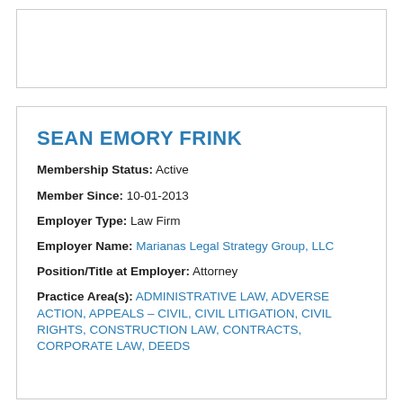SEAN EMORY FRINK
Membership Status: Active
Member Since: 10-01-2013
Employer Type: Law Firm
Employer Name: Marianas Legal Strategy Group, LLC
Position/Title at Employer: Attorney
Practice Area(s): ADMINISTRATIVE LAW, ADVERSE ACTION, APPEALS – CIVIL, CIVIL LITIGATION, CIVIL RIGHTS, CONSTRUCTION LAW, CONTRACTS, CORPORATE LAW, DEEDS